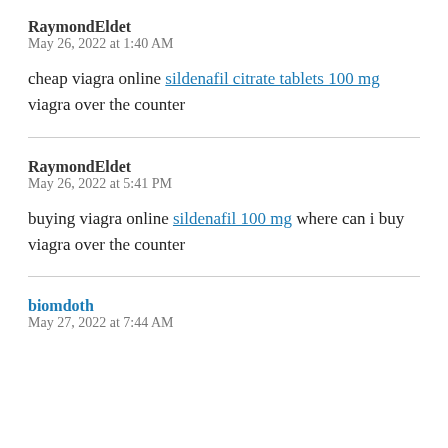RaymondEldet
May 26, 2022 at 1:40 AM
cheap viagra online sildenafil citrate tablets 100 mg viagra over the counter
RaymondEldet
May 26, 2022 at 5:41 PM
buying viagra online sildenafil 100 mg where can i buy viagra over the counter
biomdoth
May 27, 2022 at 7:44 AM